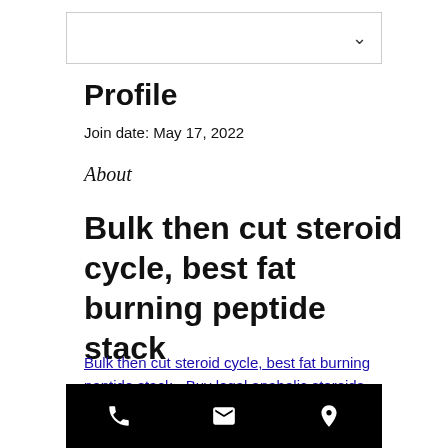[Figure (screenshot): Navigation bar with dropdown chevron arrow]
Profile
Join date: May 17, 2022
About
Bulk then cut steroid cycle, best fat burning peptide stack
Bulk then cut steroid cycle, best fat burning peptide stack - Buy legal anabolic steroids
[Figure (screenshot): Black footer bar with phone, email, and location icons]